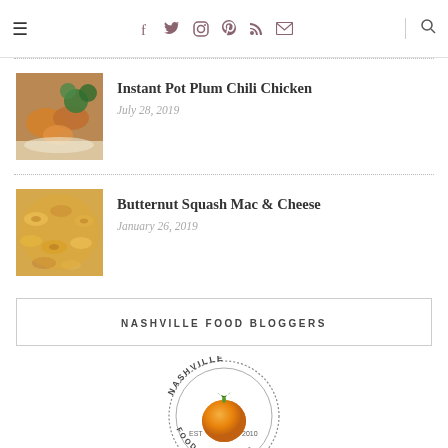≡  f  t  instagram  pinterest  rss  mail  | search
[Figure (photo): Photo of Instant Pot Plum Chili Chicken dish with broccoli and rice]
Instant Pot Plum Chili Chicken
July 28, 2019
[Figure (photo): Photo of Butternut Squash Mac & Cheese pasta dish]
Butternut Squash Mac & Cheese
January 26, 2019
NASHVILLE FOOD BLOGGERS
[Figure (logo): Nashville Food Bloggers circular logo with tomato graphic, EST 2010]